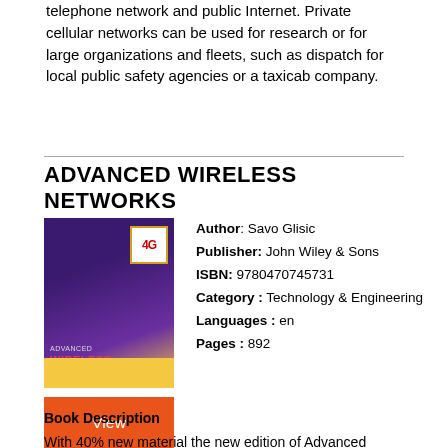telephone network and public Internet. Private cellular networks can be used for research or for large organizations and fleets, such as dispatch for local public safety agencies or a taxicab company.
ADVANCED WIRELESS NETWORKS
[Figure (illustration): Book cover of Advanced Wireless Networks by Savo Glisic, featuring a dark purple/blue background with 4G badge and red title text, with yellow bottom bar.]
Author: Savo Glisic
Publisher: John Wiley & Sons
ISBN: 9780470745731
Category : Technology & Engineering
Languages : en
Pages : 892
[Figure (illustration): Orange 'View' button]
Book Description
With 40% new material the new edition of Advanced Wireless Networks provides a comprehensive representation of the key issues in 4G wireless networks. Focussing on cognitive